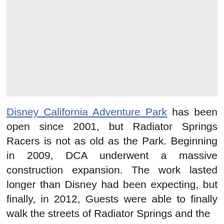[Figure (photo): Placeholder/blank light gray image area at top of page]
Disney California Adventure Park has been open since 2001, but Radiator Springs Racers is not as old as the Park. Beginning in 2009, DCA underwent a massive construction expansion. The work lasted longer than Disney had been expecting, but finally, in 2012, Guests were able to finally walk the streets of Radiator Springs and the